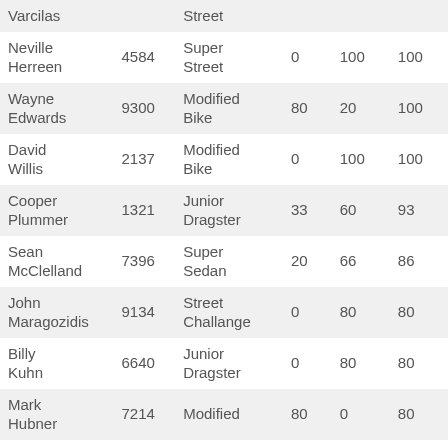| Name | Number | Category | V1 | V2 | V3 |
| --- | --- | --- | --- | --- | --- |
| Varcilas |  | Street |  |  |  |
| Neville Herreen | 4584 | Super Street | 0 | 100 | 100 |
| Wayne Edwards | 9300 | Modified Bike | 80 | 20 | 100 |
| David Willis | 2137 | Modified Bike | 0 | 100 | 100 |
| Cooper Plummer | 1321 | Junior Dragster | 33 | 60 | 93 |
| Sean McClelland | 7396 | Super Sedan | 20 | 66 | 86 |
| John Maragozidis | 9134 | Street Challange | 0 | 80 | 80 |
| Billy Kuhn | 6640 | Junior Dragster | 0 | 80 | 80 |
| Mark Hubner | 7214 | Modified | 80 | 0 | 80 |
| Cara Bertoli | 3300 | Super Street | 80 | 0 | 80 |